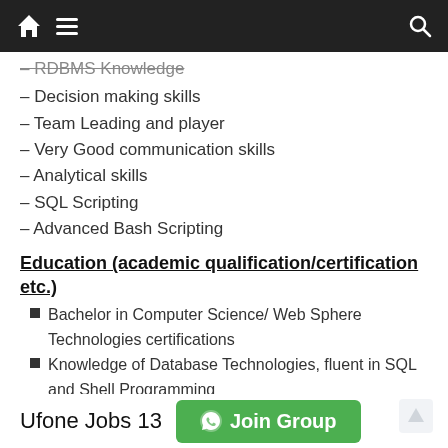Home / Menu / Search
– RDBMS Knowledge
– Decision making skills
– Team Leading and player
– Very Good communication skills
– Analytical skills
– SQL Scripting
– Advanced Bash Scripting
Education (academic qualification/certification etc.)
Bachelor in Computer Science/ Web Sphere Technologies certifications
Knowledge of Database Technologies, fluent in SQL and Shell Programming
Relevant Experience(years) Fresh Graduate Apply
Ufone Jobs 13 Join Group